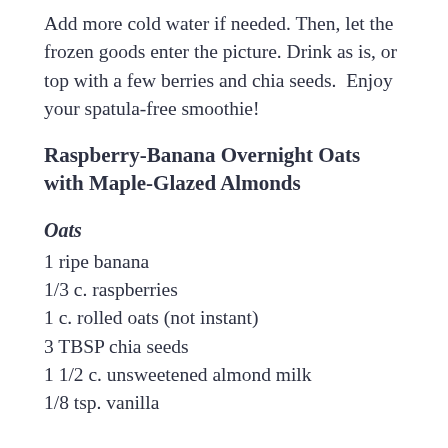Add more cold water if needed. Then, let the frozen goods enter the picture. Drink as is, or top with a few berries and chia seeds.  Enjoy your spatula-free smoothie!
Raspberry-Banana Overnight Oats with Maple-Glazed Almonds
Oats
1 ripe banana
1/3 c. raspberries
1 c. rolled oats (not instant)
3 TBSP chia seeds
1 1/2 c. unsweetened almond milk
1/8 tsp. vanilla